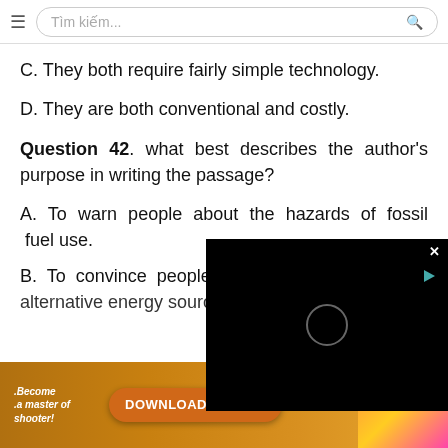Tìm kiếm...
C. They both require fairly simple technology.
D. They are both conventional and costly.
Question 42. what best describes the author's purpose in writing the passage?
A. To warn people about the hazards of fossil fuel use.
B. To convince people of the alternative energy sources